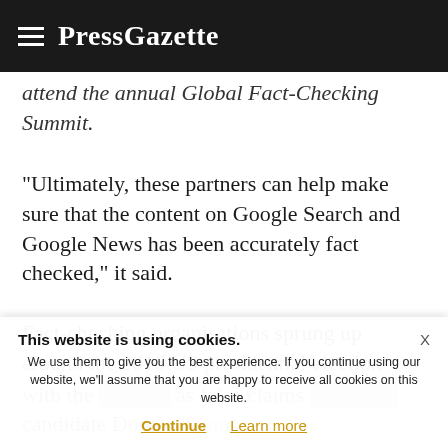PressGazette
attend the annual Global Fact-Checking Summit.
“Ultimately, these partners can help make sure that the content on Google Search and Google News has been accurately fact checked,” it said.
Fact-checking organisations sprung up around the 2016 US presidential election with the [obscured] as false claims [obscured] candidate Donald Trump.
This website is using cookies. We use them to give you the best experience. If you continue using our website, we’ll assume that you are happy to receive all cookies on this website. Continue  Learn more